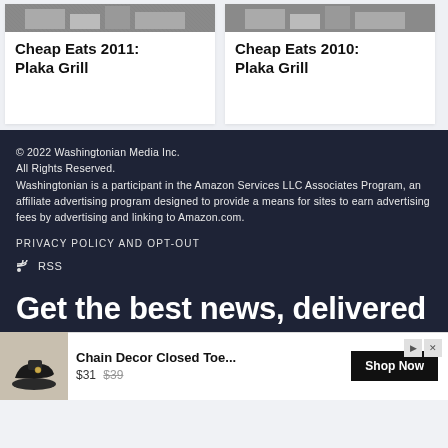Cheap Eats 2011: Plaka Grill
Cheap Eats 2010: Plaka Grill
© 2022 Washingtonian Media Inc.
All Rights Reserved.
Washingtonian is a participant in the Amazon Services LLC Associates Program, an affiliate advertising program designed to provide a means for sites to earn advertising fees by advertising and linking to Amazon.com.
PRIVACY POLICY AND OPT-OUT
RSS
Get the best news, delivered
[Figure (infographic): Advertisement banner: Chain Decor Closed Toe... $31 $39 Shop Now]